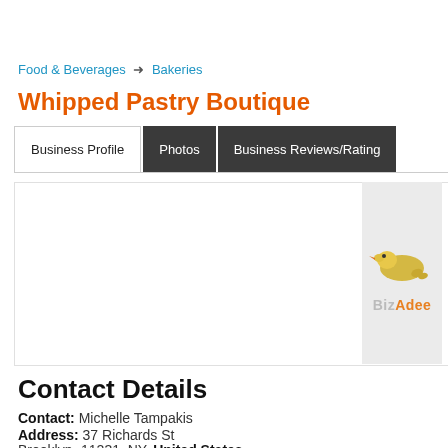Food & Beverages → Bakeries
Whipped Pastry Boutique
Business Profile  Photos  Business Reviews/Rating
[Figure (logo): BizAdee logo with a fish/duck illustration on a light grey background]
Contact Details
Contact: Michelle Tampakis
Address: 37 Richards St
Brooklyn -11231, NY, United States
Phone: 718-858-8088